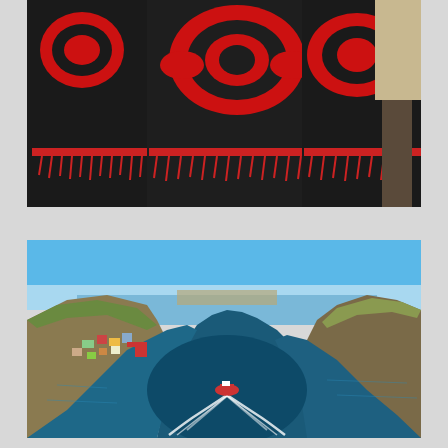[Figure (photo): People wearing black ceremonial garments/cloaks with red Indigenous Northwest Coast First Nations design patterns and red fringe trim, standing on grass outdoors.]
[Figure (photo): Aerial view of a coastal community with small colorful houses on rocky terrain beside a deep blue channel or fjord, with a white boat creating a wake as it moves through the water. Hills and ocean visible in background under blue sky.]